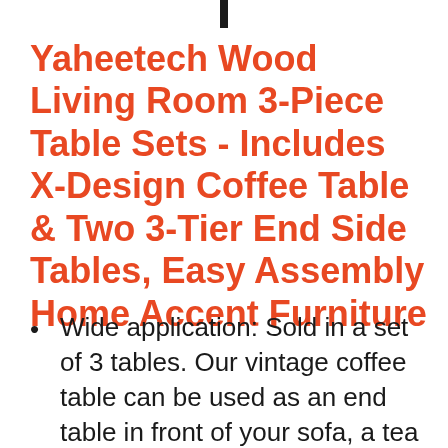Yaheetech Wood Living Room 3-Piece Table Sets - Includes X-Design Coffee Table & Two 3-Tier End Side Tables, Easy Assembly Home Accent Furniture
Wide application: Sold in a set of 3 tables. Our vintage coffee table can be used as an end table in front of your sofa, a tea table, or even as a